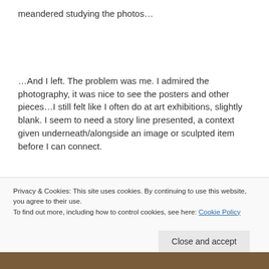meandered studying the photos…
…And I left. The problem was me. I admired the photography, it was nice to see the posters and other pieces…I still felt like I often do at art exhibitions, slightly blank. I seem to need a story line presented, a context given underneath/alongside an image or sculpted item before I can connect.
Privacy & Cookies: This site uses cookies. By continuing to use this website, you agree to their use.
To find out more, including how to control cookies, see here: Cookie Policy
Close and accept